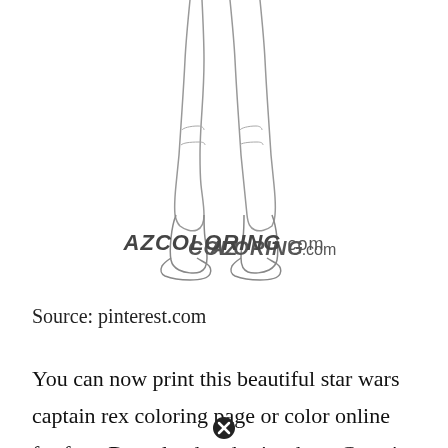[Figure (illustration): Line art drawing of legs and feet (lower body) of a Star Wars character (Captain Rex), showing boots and armor details. Below the drawing is the watermark text 'AZCOLORING.com' in bold italic lettering.]
Source: pinterest.com
You can now print this beautiful star wars captain rex coloring page or color online for free. Download and print these Captain